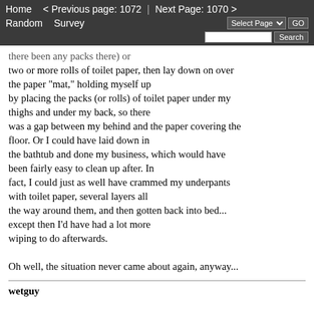Home   < Previous page: 1072   |   Next Page: 1070 >
Random   Survey   Select Page ▼  GO
Search
there been any packs there) or two or more rolls of toilet paper, then lay down on over the paper "mat," holding myself up by placing the packs (or rolls) of toilet paper under my thighs and under my back, so there was a gap between my behind and the paper covering the floor. Or I could have laid down in the bathtub and done my business, which would have been fairly easy to clean up after. In fact, I could just as well have crammed my underpants with toilet paper, several layers all the way around them, and then gotten back into bed... except then I'd have had a lot more wiping to do afterwards.

Oh well, the situation never came about again, anyway...
wetguy